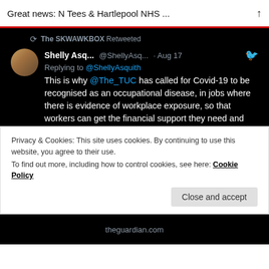Great news: N Tees & Hartlepool NHS ...
The SKWAWKBOX Retweeted
Shelly Asq... @ShellyAsq... · Aug 17
Replying to @ShellyAsquith
This is why @The_TUC has called for Covid-19 to be recognised as an occupational disease, in jobs where there is evidence of workplace exposure, so that workers can get the financial support they need and deserve.
theguardian.com/world/2022/aug...
[Figure (photo): Partial image of what appears to be a hospital or workplace corridor, clipped at bottom]
Privacy & Cookies: This site uses cookies. By continuing to use this website, you agree to their use.
To find out more, including how to control cookies, see here: Cookie Policy
Close and accept
theguardian.com